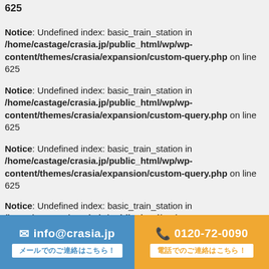625
Notice: Undefined index: basic_train_station in /home/castage/crasia.jp/public_html/wp/wp-content/themes/crasia/expansion/custom-query.php on line 625
Notice: Undefined index: basic_train_station in /home/castage/crasia.jp/public_html/wp/wp-content/themes/crasia/expansion/custom-query.php on line 625
Notice: Undefined index: basic_train_station in /home/castage/crasia.jp/public_html/wp/wp-content/themes/crasia/expansion/custom-query.php on line 625
Notice: Undefined index: basic_train_station in /home/castage/crasia.jp/public_html/wp/wp-content/themes/crasia/expansion/custom-query.php on line (cut off)
info@crasia.jp  0120-72-0090  メールでのご連絡はこちら！  電話でのご連絡はこちら！